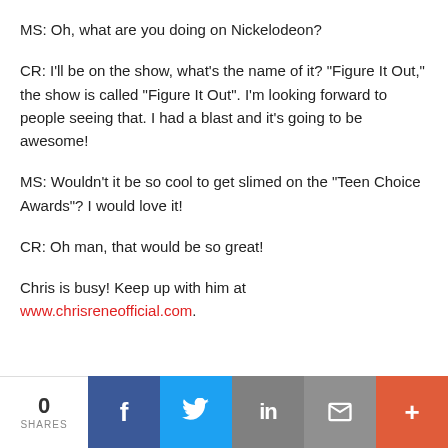MS: Oh, what are you doing on Nickelodeon?
CR: I'll be on the show, what's the name of it? "Figure It Out," the show is called "Figure It Out". I'm looking forward to people seeing that. I had a blast and it's going to be awesome!
MS: Wouldn't it be so cool to get slimed on the "Teen Choice Awards"? I would love it!
CR: Oh man, that would be so great!
Chris is busy! Keep up with him at www.chrisreneofficial.com.
0 SHARES | Facebook | Twitter | LinkedIn | Email | More